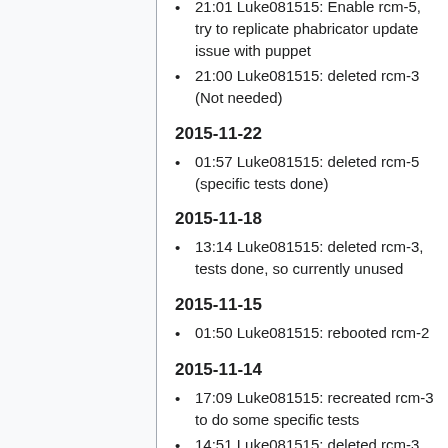21:01 Luke081515: Enable rcm-5, try to replicate phabricator update issue with puppet
21:00 Luke081515: deleted rcm-3 (Not needed)
2015-11-22
01:57 Luke081515: deleted rcm-5 (specific tests done)
2015-11-18
13:14 Luke081515: deleted rcm-3, tests done, so currently unused
2015-11-15
01:50 Luke081515: rebooted rcm-2
2015-11-14
17:09 Luke081515: recreated rcm-3 to do some specific tests
14:51 Luke081515: deleted rcm-3